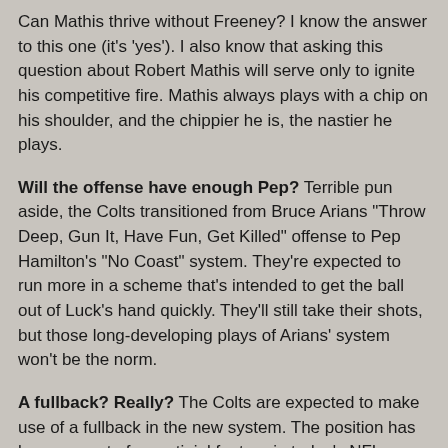Can Mathis thrive without Freeney? I know the answer to this one (it's 'yes'). I also know that asking this question about Robert Mathis will serve only to ignite his competitive fire. Mathis always plays with a chip on his shoulder, and the chippier he is, the nastier he plays.
Will the offense have enough Pep? Terrible pun aside, the Colts transitioned from Bruce Arians "Throw Deep, Gun It, Have Fun, Get Killed" offense to Pep Hamilton's "No Coast" system. They're expected to run more in a scheme that's intended to get the ball out of Luck's hand quickly. They'll still take their shots, but those long-developing plays of Arians' system won't be the norm.
A fullback? Really? The Colts are expected to make use of a fullback in the new system. The position has become sort of a vestigial feature in today's NFL offense, but the Colts want to run with power. After watching the team utilize mostly a one-back system for more than a decade--and bring in offensive or defensive linemen when calling for the "jumbo" package--this will be a different look.
Will he Chapman be the immovable object in the